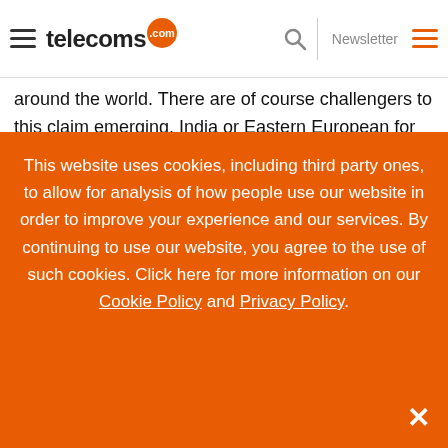telecoms.com | Newsletter
around the world. There are of course challengers to this claim emerging, India or Eastern European for example, but companies flock to Silicon Valley to open up R&D offices to tap into this resource. Such a ban from the US Commerce Department means Huawei is going to miss out on some of these smarts.
The block will prove problematic to overcome as there does
This website uses cookies, including third party ones, to allow for analysis of how people use our website in order to improve your experience and our services. By continuing to use our website, you agree to the use of such cookies. Click here for more information on our Cookie Policy and Privacy Policy.